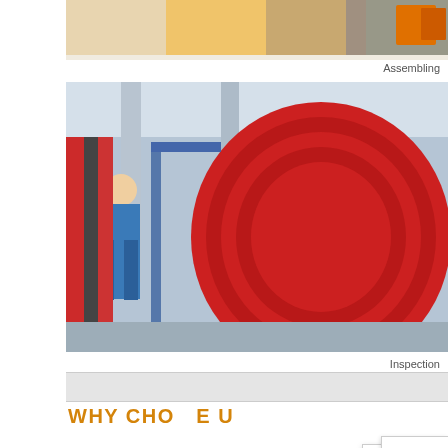[Figure (photo): Partial view of 'Assembling' process photo at top, showing manufacturing/assembly area]
Assembling
[Figure (photo): Inspection photo showing a worker examining colored fabric panels (red, blue) on a machine in a factory setting]
Inspection
WHY CHOOSE U
Customized r is a
High quality t pric
Experience f Pro
100% QC in ion B
12years' experience
Free design packaging
customers requirements